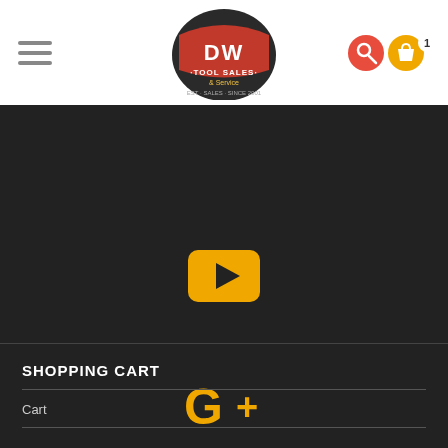[Figure (logo): DW Tool Sales & Service logo - circular badge with orange text]
[Figure (screenshot): YouTube play button icon in yellow/gold on dark background]
[Figure (screenshot): Google+ icon in yellow/gold on dark background]
SHOPPING CART
Cart